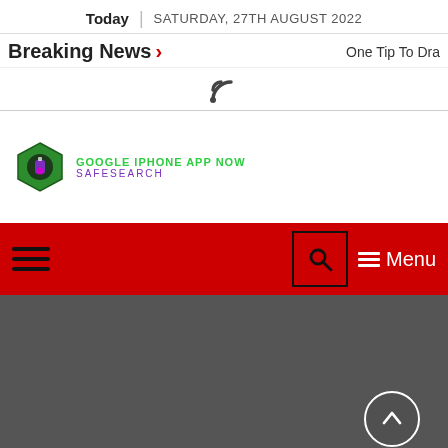Today | SATURDAY, 27TH AUGUST 2022
Breaking News > One Tip To Dra
[Figure (other): RSS feed icon]
[Figure (logo): Google iPhone App Now SafeSearch logo with hexagon icon]
[Figure (screenshot): Red navigation bar with hamburger menu on left, search box and Menu button on right]
[Figure (other): Dark gray area with scroll-to-top circular button in bottom right]